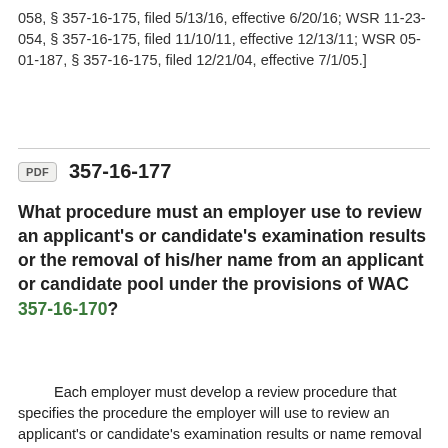058, § 357-16-175, filed 5/13/16, effective 6/20/16; WSR 11-23-054, § 357-16-175, filed 11/10/11, effective 12/13/11; WSR 05-01-187, § 357-16-175, filed 12/21/04, effective 7/1/05.]
357-16-177
What procedure must an employer use to review an applicant's or candidate's examination results or the removal of his/her name from an applicant or candidate pool under the provisions of WAC 357-16-170?
Each employer must develop a review procedure that specifies the procedure the employer will use to review an applicant's or candidate's examination results or name removal from a pool. The procedure